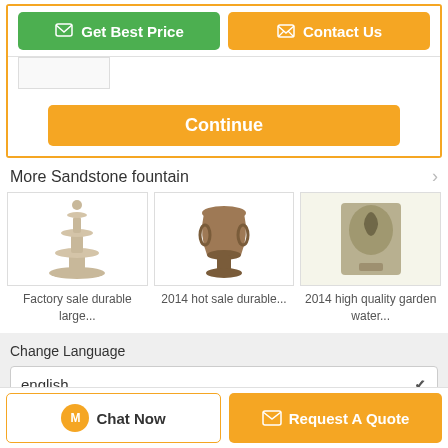[Figure (screenshot): Two buttons: green 'Get Best Price' and orange 'Contact Us']
[Figure (screenshot): Orange 'Continue' button]
More Sandstone fountain
[Figure (photo): Factory sale durable large fountain product image]
Factory sale durable large...
[Figure (photo): 2014 hot sale durable fountain product image]
2014 hot sale durable...
[Figure (photo): 2014 high quality garden water fountain product image]
2014 high quality garden water...
Change Language
english
[Figure (screenshot): Chat Now button and Request A Quote button at the bottom]